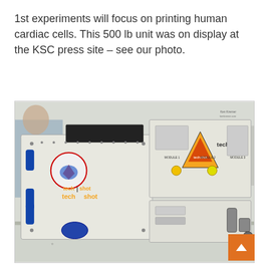1st experiments will focus on printing human cardiac cells. This 500 lb unit was on display at the KSC press site – see our photo.
[Figure (photo): A large white scientific hardware unit branded 'techshot' with control panels, yellow knobs, blue handles, and mission patches, displayed on a table at the KSC press site. This is the 500 lb 3D bioprinter for printing human cardiac cells in space.]